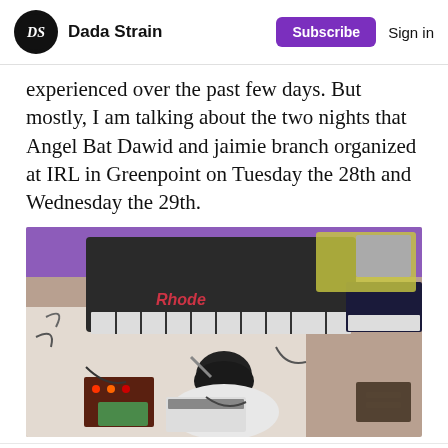Dada Strain | Subscribe | Sign in
experienced over the past few days. But mostly, I am talking about the two nights that Angel Bat Dawid and jaimie branch organized at IRL in Greenpoint on Tuesday the 28th and Wednesday the 29th.
[Figure (photo): Overhead/bird's-eye view of a musician (jaimie branch) at a performance setup with a Rhodes keyboard, a small synthesizer/MIDI keyboard, modular synth equipment, and various cables. The musician is wearing a black cap and a white shirt reading 'J. BRAN'. Purple ambient lighting is visible in the background.]
3 likes | Comment | Share